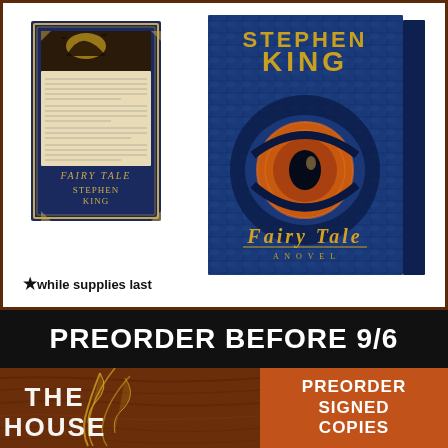[Figure (photo): Left book cover: Fairy Tale by Stephen King - flat cover showing a dark castle/moon scene with text passages and the title FAIRY TALE and author STEPHEN KING at the bottom]
[Figure (photo): Right book cover: Fairy Tale by Stephen King - 3D book showing a glowing eye in a blue mosaic background, with STEPHEN KING in gold at top and FAIRY TALE in gold at center]
* while supplies last
PREORDER BEFORE 9/6
[Figure (photo): Bottom left: THE HOUSE book cover partial view with dark wood grain texture and gold flame/feather decorative elements]
PREORDER SIGNED COPIES